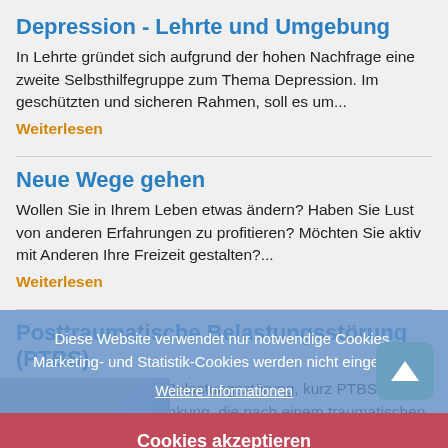Depression - Lehrte und Umgebung
In Lehrte gründet sich aufgrund der hohen Nachfrage eine zweite Selbsthilfegruppe zum Thema Depression. Im geschützten und sicheren Rahmen, soll es um...
Weiterlesen
Neue Wege gehen
Wollen Sie in Ihrem Leben etwas ändern? Haben Sie Lust von anderen Erfahrungen zu profitieren? Möchten Sie aktiv mit Anderen Ihre Freizeit gestalten?...
Weiterlesen
Posttraumatische Belastungsstörung (PTBS)
Die posttraumatische Belastungsstörung, kurz PTBS, ist eine psychische Erkrankung, die nach einem traumatischen Ereignis in Erscheinung tritt. Eine...
Weiterlesen
Diese Website verwendet nur notwendige Cookies. Marketing- und Statistik-Cookies werden nicht eingesetzt.
Weitere Informationen
Cookies akzeptieren
[Figure (photo): Partial photo at bottom left corner of page]